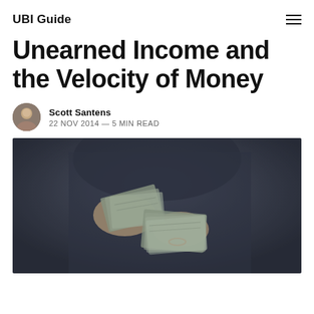UBI Guide
Unearned Income and the Velocity of Money
Scott Santens
22 NOV 2014 — 5 MIN READ
[Figure (photo): Person holding and counting US dollar bills, dark moody background]